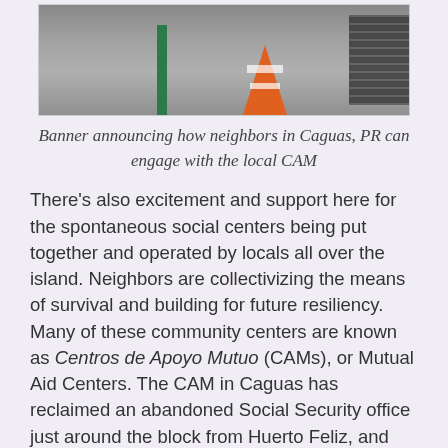[Figure (photo): Partial photo of a sidewalk scene in Caguas, PR showing a green pole, orange traffic cone, and a metal drain grate on pavement.]
Banner announcing how neighbors in Caguas, PR can engage with the local CAM
There’s also excitement and support here for the spontaneous social centers being put together and operated by locals all over the island. Neighbors are collectivizing the means of survival and building for future resiliency. Many of these community centers are known as Centros de Apoyo Mutuo (CAMs), or Mutual Aid Centers. The CAM in Caguas has reclaimed an abandoned Social Security office just around the block from Huerto Feliz, and they’ve begun major renovations. Almost every day, people from Caguas, people from across the island, and other visitors are seen fixing holes in walls, painting, and reinstalling water and electric systems to the building. When it’s finished, community members will serve breakfast